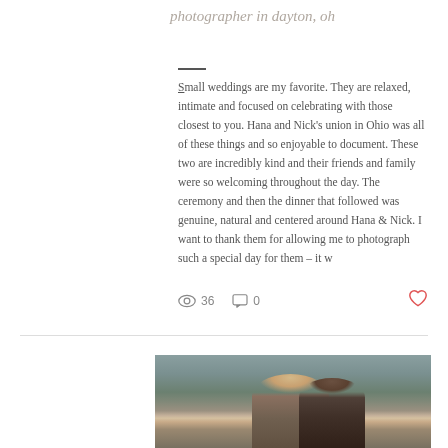photographer in dayton, oh
Small weddings are my favorite. They are relaxed, intimate and focused on celebrating with those closest to you. Hana and Nick's union in Ohio was all of these things and so enjoyable to document. These two are incredibly kind and their friends and family were so welcoming throughout the day. The ceremony and then the dinner that followed was genuine, natural and centered around Hana & Nick. I want to thank them for allowing me to photograph such a special day for them – it w
36  0
[Figure (photo): Two women facing each other closely, one with blonde hair and one with dark hair, outdoors with green trees in the background]